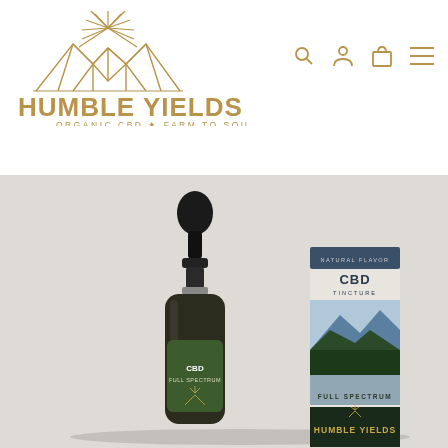[Figure (logo): Humble Yields logo with mountain and sunburst illustration in gold/tan lines, text HUMBLE YIELDS in bold gold letters below, subtitle ORGANIC CBD + FARM TO SOUL]
[Figure (photo): Product photo of a dark amber glass dropper bottle with green label reading CBD FULL SPECTRUM, next to its packaging box labeled CBD TINCTURE NATURAL FLAVOR FULL SPECTRUM HUMBLE YIELDS with mountain landscape imagery, on a light gray background]